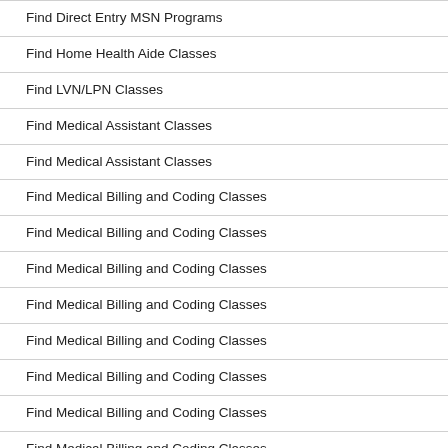Find Direct Entry MSN Programs
Find Home Health Aide Classes
Find LVN/LPN Classes
Find Medical Assistant Classes
Find Medical Assistant Classes
Find Medical Billing and Coding Classes
Find Medical Billing and Coding Classes
Find Medical Billing and Coding Classes
Find Medical Billing and Coding Classes
Find Medical Billing and Coding Classes
Find Medical Billing and Coding Classes
Find Medical Billing and Coding Classes
Find Medical Billing and Coding Classes